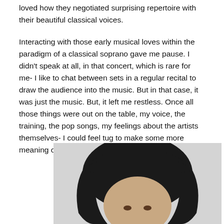...loved how they negotiated surprising repertoire with their beautiful classical voices.
Interacting with those early musical loves within the paradigm of a classical soprano gave me pause. I didn’t speak at all, in that concert, which is rare for me- I like to chat between sets in a regular recital to draw the audience into the music. But in that case, it was just the music. But, it left me restless. Once all those things were out on the table, my voice, the training, the pop songs, my feelings about the artists themselves- I could feel tug to make some more meaning of all of these parts of my musical self.
[Figure (photo): Portrait photograph of a woman with dark hair, cropped at the top of the frame showing the upper portion of her face and hair against a light grey background.]